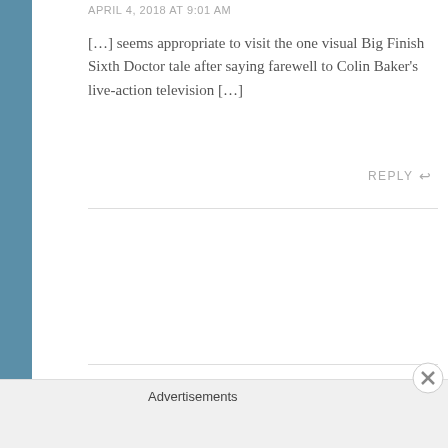APRIL 4, 2018 AT 9:01 AM
[…] seems appropriate to visit the one visual Big Finish Sixth Doctor tale after saying farewell to Colin Baker's live-action television […]
REPLY
Timestamp #148: Time and the Rani – Creative Criticality says:
APRIL 18, 2018 AT 8:18 AM
Advertisements